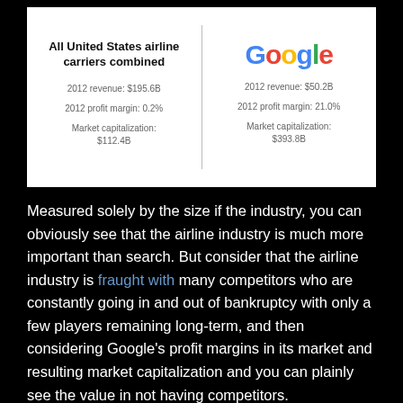[Figure (infographic): Side-by-side comparison of All United States airline carriers combined vs Google. Left side: 2012 revenue $195.6B, 2012 profit margin 0.2%, Market capitalization $112.4B. Right side (Google logo): 2012 revenue $50.2B, 2012 profit margin 21.0%, Market capitalization $393.8B. Separated by a vertical divider line.]
Measured solely by the size if the industry, you can obviously see that the airline industry is much more important than search. But consider that the airline industry is fraught with many competitors who are constantly going in and out of bankruptcy with only a few players remaining long-term, and then considering Google's profit margins in its market and resulting market capitalization and you can plainly see the value in not having competitors.